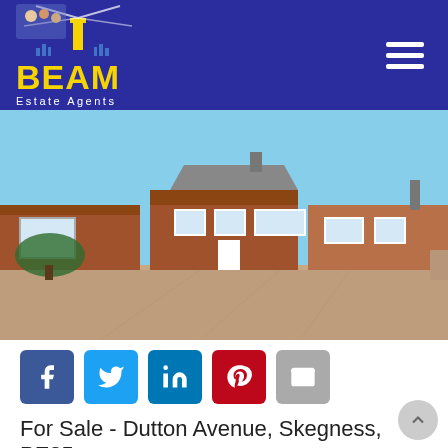[Figure (logo): BEAM Estate Agents logo — lighthouse graphic, yellow bold BEAM text, white Estate Agents subtitle on navy background with hamburger menu icon]
[Figure (photo): Exterior photo of a semi-detached brick bungalow on a sunny day with brick driveway and blue sky, with carousel navigation dots at bottom]
[Figure (infographic): Row of social sharing buttons: Facebook (blue), Twitter (cyan), LinkedIn (dark blue), Pinterest (red), Email (grey)]
For Sale - Dutton Avenue, Skegness, PE25 - £849,000